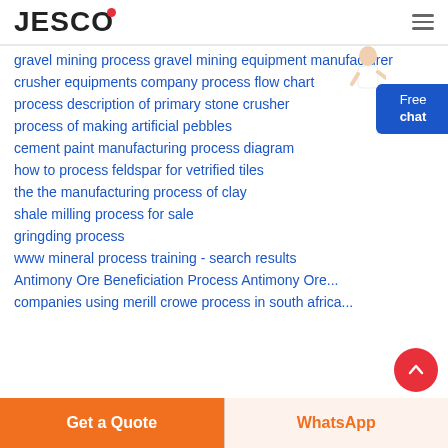JESCO
gravel mining process gravel mining equipment manufacturer
crusher equipments company process flow chart
process description of primary stone crusher
process of making artificial pebbles
cement paint manufacturing process diagram
how to process feldspar for vetrified tiles
the the manufacturing process of clay
shale milling process for sale
gringding process
www mineral process training - search results
Antimony Ore Beneficiation Process Antimony Ore...
companies using merill crowe process in south africa...
Get a Quote
WhatsApp